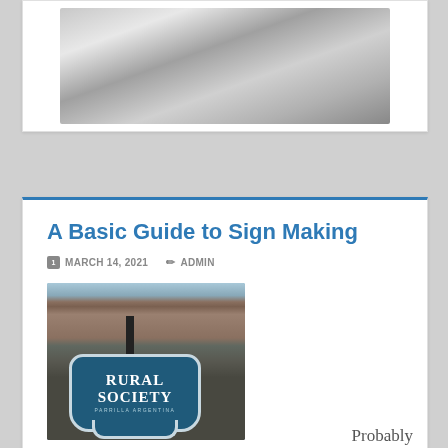[Figure (photo): Partial photo of a shiny metallic surface, appearing to be a close-up of a reflective material or vehicle part, shown at the top of the page, partially cut off.]
A Basic Guide to Sign Making
MARCH 14, 2021   ADMIN
[Figure (photo): Photo of a Rural Society Parrilla Argentina hanging sign mounted on a black pole in front of a brick office building. The sign is dark blue with white text and a decorative badge shape.]
Probably